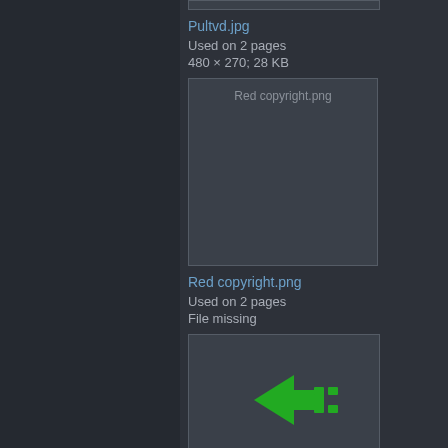[Figure (screenshot): Thumbnail strip at top, partially visible]
Pultvd.jpg
Used on 2 pages
480 × 270; 28 KB
[Figure (screenshot): Gray placeholder box with text 'Red copyright.png']
Red copyright.png
Used on 2 pages
File missing
[Figure (illustration): Green left-pointing arrow with dots icon]